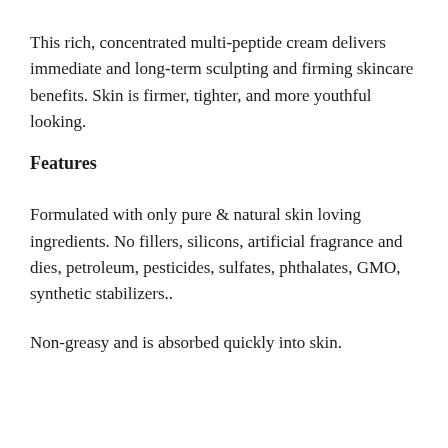This rich, concentrated multi-peptide cream delivers immediate and long-term sculpting and firming skincare benefits. Skin is firmer, tighter, and more youthful looking.
Features
Formulated with only pure & natural skin loving ingredients. No fillers, silicons, artificial fragrance and dies, petroleum, pesticides, sulfates, phthalates, GMO, synthetic stabilizers..
Non-greasy and is absorbed quickly into skin.